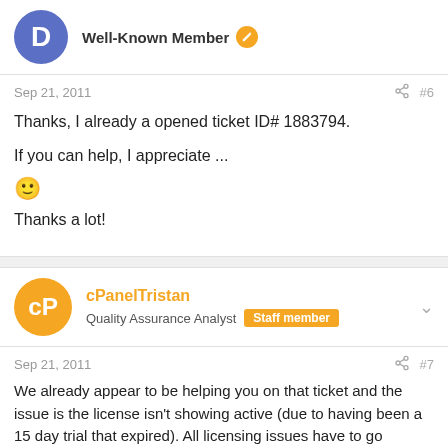Well-Known Member
Sep 21, 2011  #6
Thanks, I already a opened ticket ID# 1883794.

If you can help, I appreciate ...
🙂

Thanks a lot!
cPanelTristan
Quality Assurance Analyst  Staff member
Sep 21, 2011  #7
We already appear to be helping you on that ticket and the issue is the license isn't showing active (due to having been a 15 day trial that expired). All licensing issues have to go through the ticket system rather than via the forums. Since the tech who is helping you on that ticket does work today, he should be able to get you